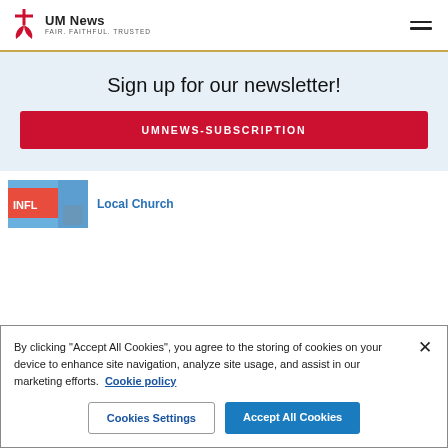UM News — FAIR. FAITHFUL. TRUSTED.
Sign up for our newsletter!
UMNEWS-SUBSCRIPTION
Local Church
By clicking "Accept All Cookies", you agree to the storing of cookies on your device to enhance site navigation, analyze site usage, and assist in our marketing efforts. Cookie policy
Cookies Settings
Accept All Cookies